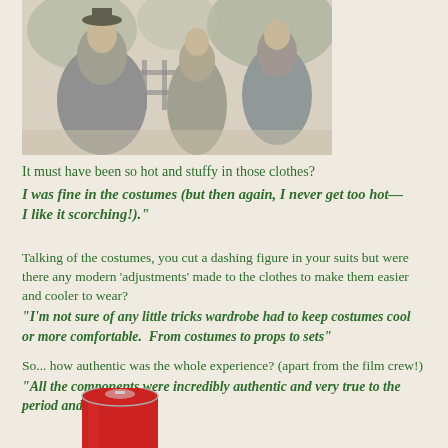[Figure (photo): Black and white photograph showing people in period costumes, possibly Victorian-era clothing, standing near a fence with trees in the background.]
It must have been so hot and stuffy in those clothes?
I was fine in the costumes (but then again, I never get too hot—I like it scorching!)."
Talking of the costumes, you cut a dashing figure in your suits but were there any modern 'adjustments' made to the clothes to make them easier and cooler to wear?
"I'm not sure of any little tricks wardrobe had to keep costumes cool or more comfortable.  From costumes to props to sets"
So... how authentic was the whole experience? (apart from the film crew!)
"All the components were incredibly authentic and very true to the period and story."
[Figure (photo): Bottom portion of a red soda/beverage can visible at the bottom of the page.]